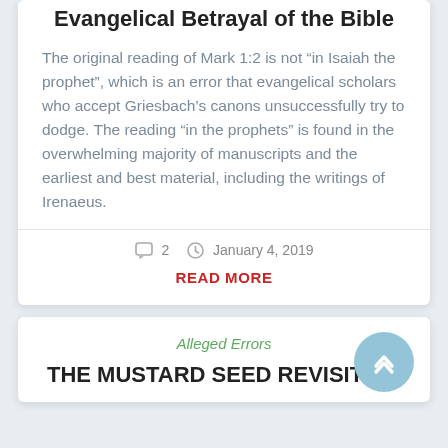Evangelical Betrayal of the Bible
The original reading of Mark 1:2 is not “in Isaiah the prophet”, which is an error that evangelical scholars who accept Griesbach’s canons unsuccessfully try to dodge. The reading “in the prophets” is found in the overwhelming majority of manuscripts and the earliest and best material, including the writings of Irenaeus.
2   January 4, 2019
READ MORE
Alleged Errors
THE MUSTARD SEED REVISITED: